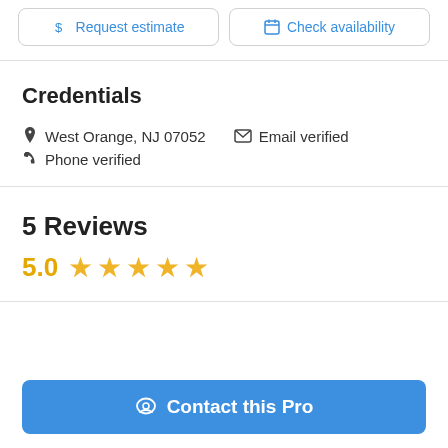$ Request estimate | Check availability
Credentials
West Orange, NJ 07052   Email verified
Phone verified
5 Reviews
5.0 ★★★★★
Contact this Pro